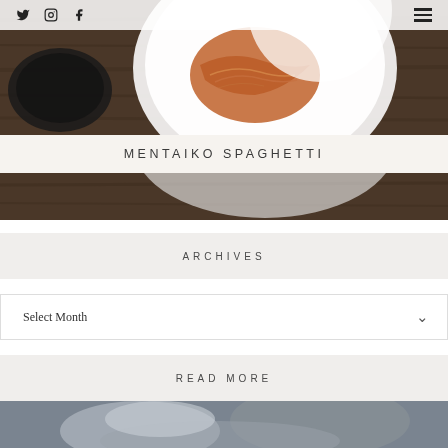[Figure (photo): Top-down view of spaghetti pasta on a white plate on a wooden table, with a white circular overlay at top]
Social icons (Twitter, Instagram, Facebook) and hamburger menu
MENTAIKO SPAGHETTI
ARCHIVES
Select Month
READ MORE
[Figure (photo): Blurred close-up food photo, gray tones, possibly showing dumplings or pastry]